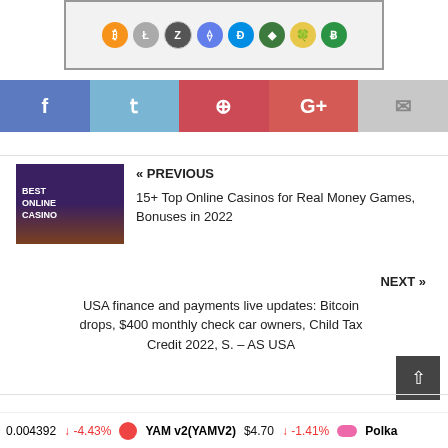[Figure (illustration): Top portion of a cryptocurrency-related banner image with multiple crypto logos (Bitcoin, Litecoin, Zcash, Ethereum, Dash, Ethereum Classic, Safecoin, Bitcoin SV) on a light gray background with a border]
[Figure (infographic): Social share bar with Facebook (blue), Twitter (light blue), Pinterest (red), Google+ (red-orange), and Email (gray) buttons]
[Figure (photo): Thumbnail image for previous post: dark purple/brown background with text BEST ONLINE CASINO and casino imagery]
« PREVIOUS
15+ Top Online Casinos for Real Money Games, Bonuses in 2022
NEXT »
USA finance and payments live updates: Bitcoin drops, $400 monthly check car owners, Child Tax Credit 2022, S. – AS USA
0.004392  ↓ -4.43%    YAM v2(YAMV2)  $4.70  ↓ -1.41%    Polka